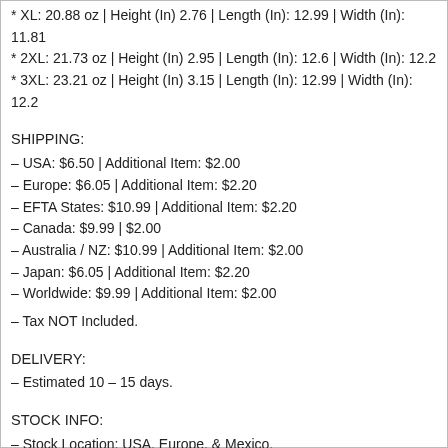* XL: 20.88 oz | Height (In) 2.76 | Length (In): 12.99 | Width (In): 11.81
* 2XL: 21.73 oz | Height (In) 2.95 | Length (In): 12.6 | Width (In): 12.2
* 3XL: 23.21 oz | Height (In) 3.15 | Length (In): 12.99 | Width (In): 12.2
SHIPPING:
– USA: $6.50 | Additional Item: $2.00
– Europe: $6.05 | Additional Item: $2.20
– EFTA States: $10.99 | Additional Item: $2.20
– Canada: $9.99 | $2.00
– Australia / NZ: $10.99 | Additional Item: $2.00
– Japan: $6.05 | Additional Item: $2.20
– Worldwide: $9.99 | Additional Item: $2.00
– Tax NOT Included.
DELIVERY:
– Estimated 10 – 15 days.
STOCK INFO:
– Stock Location: USA, Europe, & Mexico.
– Shipping Availability: 10 – 15 days' arrival on average after purchase.